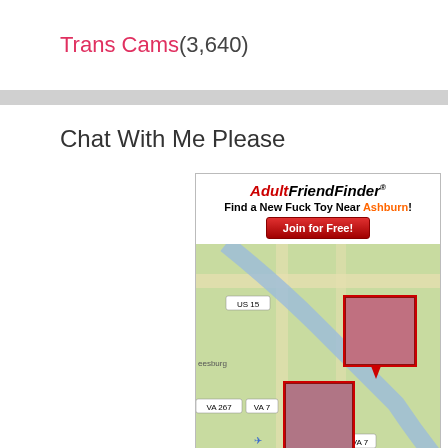Trans Cams (3,640)
Chat With Me Please
[Figure (other): AdultFriendFinder advertisement banner with map showing Ashburn VA area with profile photo pins]